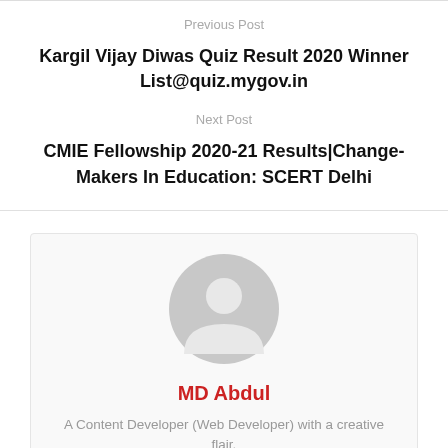Previous Post
Kargil Vijay Diwas Quiz Result 2020 Winner List@quiz.mygov.in
Next Post
CMIE Fellowship 2020-21 Results|Change-Makers In Education: SCERT Delhi
[Figure (illustration): Generic user/author avatar icon — grey circle with silhouette of a person]
MD Abdul
A Content Developer (Web Developer) with a creative flair. Providing Quality and Genuine Content For People